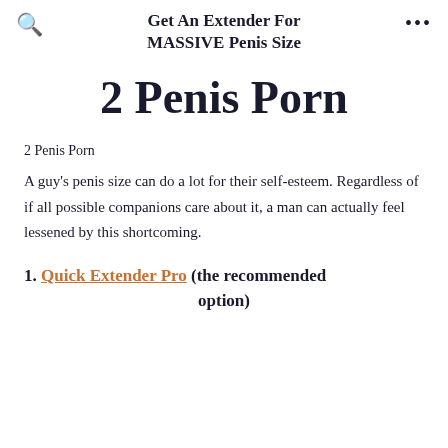Get An Extender For MASSIVE Penis Size
2 Penis Porn
2 Penis Porn
A guy's penis size can do a lot for their self-esteem. Regardless of if all possible companions care about it, a man can actually feel lessened by this shortcoming.
1. Quick Extender Pro (the recommended option)